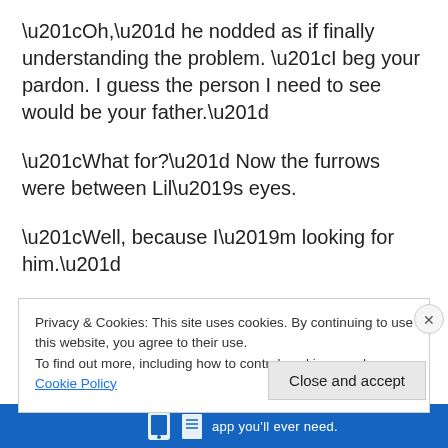“Oh,” he nodded as if finally understanding the problem. “I beg your pardon. I guess the person I need to see would be your father.”
“What for?” Now the furrows were between Lil’s eyes.
“Well, because I’m looking for him.”
“You’re looking for my father? Are you in need of a banker?”
“No. Not at all.” The smile was gone and those long lashed
Privacy & Cookies: This site uses cookies. By continuing to use this website, you agree to their use.
To find out more, including how to control cookies, see here: Cookie Policy
Close and accept